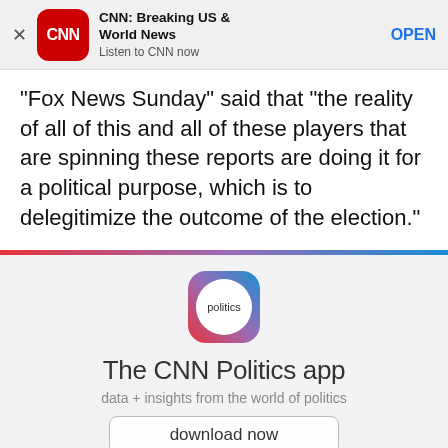[Figure (screenshot): CNN Breaking US & World News app advertisement banner with CNN logo, title, subtitle, and OPEN button]
“Fox News Sunday” said that “the reality of all of this and all of these players that are spinning these reports are doing it for a political purpose, which is to delegitimize the outcome of the election.”
[Figure (infographic): CNN Politics app promotion section with politics icon logo, title 'The CNN Politics app', subtitle 'data + insights from the world of politics', and a 'download now' button, with a red-to-blue gradient bar at top]